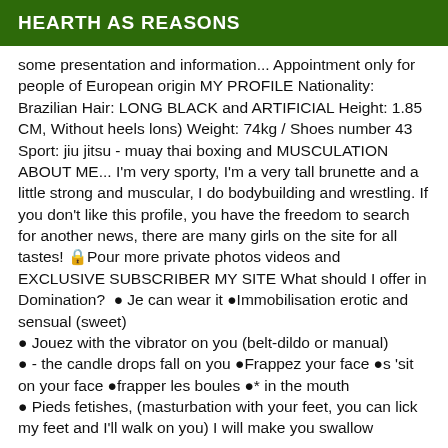HEARTH AS REASONS
some presentation and information... Appointment only for people of European origin MY PROFILE Nationality: Brazilian Hair: LONG BLACK and ARTIFICIAL Height: 1.85 CM, Without heels lons) Weight: 74kg / Shoes number 43 Sport: jiu jitsu - muay thai boxing and MUSCULATION ABOUT ME... I'm very sporty, I'm a very tall brunette and a little strong and muscular, I do bodybuilding and wrestling. If you don't like this profile, you have the freedom to search for another news, there are many girls on the site for all tastes! 🔒Pour more private photos videos and EXCLUSIVE SUBSCRIBER MY SITE What should I offer in Domination? ● Je can wear it ●Immobilisation erotic and sensual (sweet) ● Jouez with the vibrator on you (belt-dildo or manual) ● - the candle drops fall on you ●Frappez your face ●s 'sit on your face ●frapper les boules ●* in the mouth ●Pieds fetishes, (masturbation with your feet, you can lick my feet and I'll walk on you) I will make you swallow